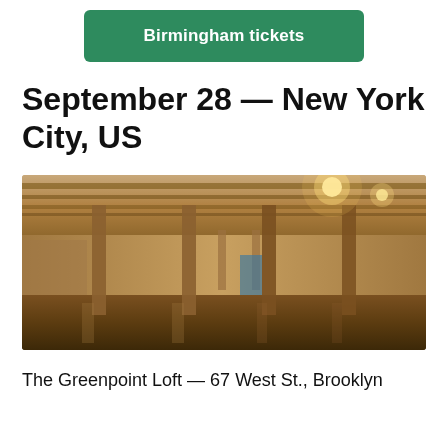Birmingham tickets
September 28 — New York City, US
[Figure (photo): Interior of The Greenpoint Loft venue — a large industrial warehouse space with wooden ceiling beams, concrete columns, exposed brick walls, and a polished wooden floor. Warm lights are visible overhead.]
The Greenpoint Loft — 67 West St., Brooklyn